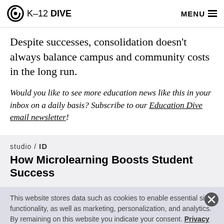K-12 DIVE  MENU
Despite successes, consolidation doesn't always balance campus and community costs in the long run.
Would you like to see more education news like this in your inbox on a daily basis? Subscribe to our Education Dive email newsletter!
studio / ID
How Microlearning Boosts Student Success
This website stores data such as cookies to enable essential site functionality, as well as marketing, personalization, and analytics. By remaining on this website you indicate your consent. Privacy Policy